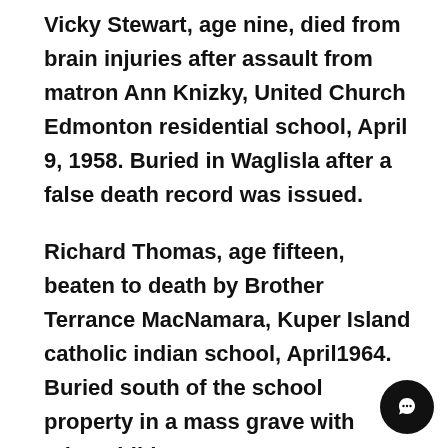Vicky Stewart, age nine, died from brain injuries after assault from matron Ann Knizky, United Church Edmonton residential school, April 9, 1958. Buried in Waglisla after a false death record was issued.
Richard Thomas, age fifteen, beaten to death by Brother Terrance MacNamara, Kuper Island catholic indian school, April1964. Buried south of the school property in a mass grave with other children.